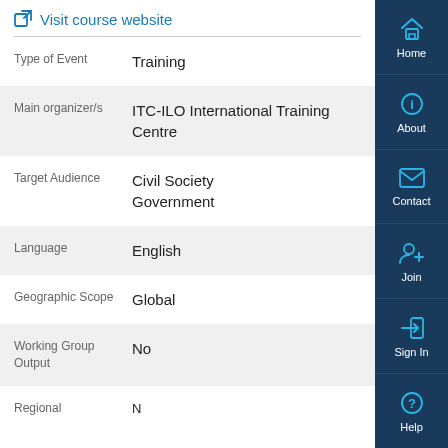Visit course website
| Field | Value |
| --- | --- |
| Type of Event | Training |
| Main organizer/s | ITC-ILO International Training Centre |
| Target Audience | Civil Society
Government |
| Language | English |
| Geographic Scope | Global |
| Working Group Output | No |